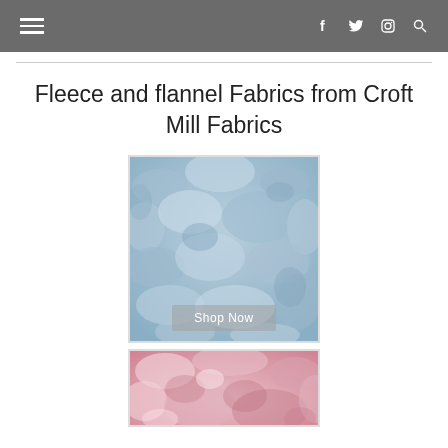Navigation bar with hamburger menu and social icons (Facebook, Twitter, Instagram, Search)
Fleece and flannel Fabrics from Croft Mill Fabrics
[Figure (photo): Close-up of blue fleece fabric with a semi-transparent 'Shop Now' button overlay at the bottom]
[Figure (photo): Close-up of pink/rose fleece fabric, partially visible]